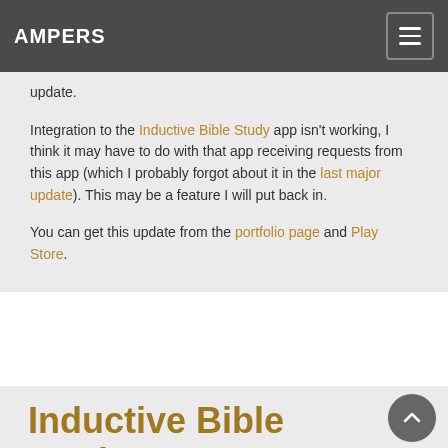AMPERS
update.
Integration to the Inductive Bible Study app isn't working, I think it may have to do with that app receiving requests from this app (which I probably forgot about it in the last major update). This may be a feature I will put back in.
You can get this update from the portfolio page and Play Store.
Inductive Bible Study v2.0.0